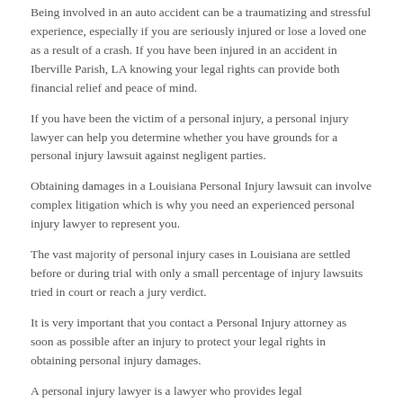Being involved in an auto accident can be a traumatizing and stressful experience, especially if you are seriously injured or lose a loved one as a result of a crash. If you have been injured in an accident in Iberville Parish, LA knowing your legal rights can provide both financial relief and peace of mind.
If you have been the victim of a personal injury, a personal injury lawyer can help you determine whether you have grounds for a personal injury lawsuit against negligent parties.
Obtaining damages in a Louisiana Personal Injury lawsuit can involve complex litigation which is why you need an experienced personal injury lawyer to represent you.
The vast majority of personal injury cases in Louisiana are settled before or during trial with only a small percentage of injury lawsuits tried in court or reach a jury verdict.
It is very important that you contact a Personal Injury attorney as soon as possible after an injury to protect your legal rights in obtaining personal injury damages.
A personal injury lawyer is a lawyer who provides legal representation to those who have been injured as a result of